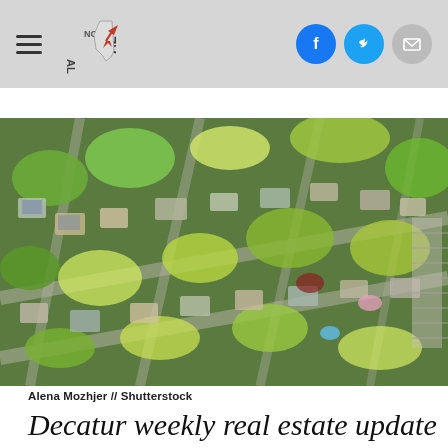ALNow — hamburger menu, logo, social share buttons (Facebook, Twitter, Email)
[Figure (photo): Aerial drone photograph of a suburban residential neighborhood with green tree canopy, houses with yards, and grid-pattern streets taken in spring/early summer.]
Alena Mozhjer // Shutterstock
Decatur weekly real estate update